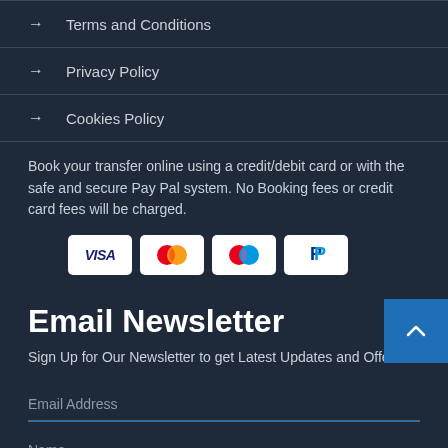→ Terms and Conditions
→ Privacy Policy
→ Cookies Policy
Book your transfer online using a credit/debit card or with the safe and secure Pay Pal system. No Booking fees or credit card fees will be charged.
[Figure (illustration): Payment icons: Visa, Mastercard, Maestro, PayPal]
Email Newsletter
Sign Up for Our Newsletter to get Latest Updates and Offers.
Email Address
Name